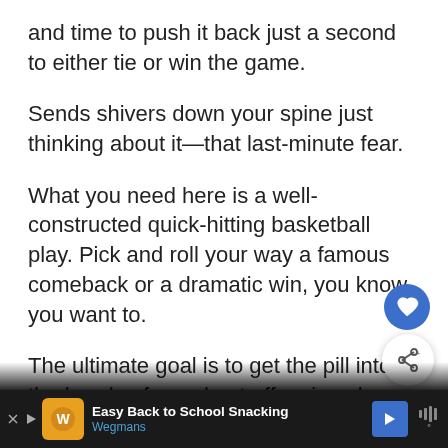and time to push it back just a second to either tie or win the game.
Sends shivers down your spine just thinking about it—that last-minute fear.
What you need here is a well-constructed quick-hitting basketball play. Pick and roll your way a famous comeback or a dramatic win, you know you want to.
The ultimate goal is to get the pill into the hands of your best offensive player as quickly
[Figure (screenshot): Blue circular heart/favorite button (FAB)]
[Figure (screenshot): White circular share button (FAB) with share icon]
[Figure (screenshot): Advertisement banner: Easy Back to School Snacking - Wegmans]